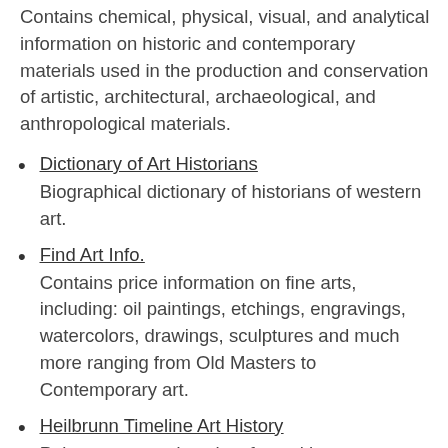Contains chemical, physical, visual, and analytical information on historic and contemporary materials used in the production and conservation of artistic, architectural, archaeological, and anthropological materials.
Dictionary of Art Historians
Biographical dictionary of historians of western art.
Find Art Info.
Contains price information on fine arts, including: oil paintings, etchings, engravings, watercolors, drawings, sculptures and much more ranging from Old Masters to Contemporary art.
Heilbrunn Timeline Art History
Pairs essays and works of art with chronologies, telling the story of art and global culture through the Metropolitan Museum of Art’s collection.
International Foundation for Art Research (IFAR)
Website contains educational resources for Art law & cultural property, a provenance guide, collector’s